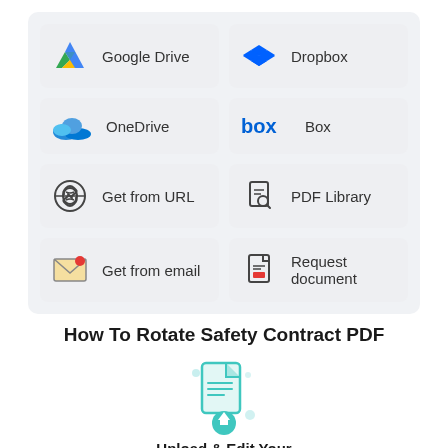[Figure (screenshot): Grid of 8 cloud storage and document source options: Google Drive, Dropbox, OneDrive, Box, Get from URL, PDF Library, Get from email, Request document]
How To Rotate Safety Contract PDF
[Figure (illustration): Teal document icon with upload arrow and decorative dots]
Upload & Edit Your PDF Document